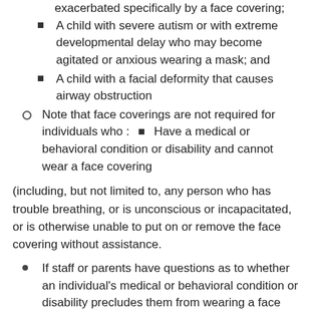A child with severe autism or with extreme developmental delay who may become agitated or anxious wearing a mask; and
A child with a facial deformity that causes airway obstruction
Note that face coverings are not required for individuals who : ■ Have a medical or behavioral condition or disability and cannot wear a face covering
(including, but not limited to, any person who has trouble breathing, or is unconscious or incapacitated, or is otherwise unable to put on or remove the face covering without assistance.
If staff or parents have questions as to whether an individual's medical or behavioral condition or disability precludes them from wearing a face